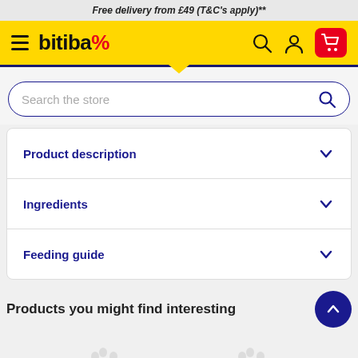Free delivery from £49 (T&C's apply)**
[Figure (screenshot): Bitiba% logo navigation bar with hamburger menu, search, user, and cart icons on yellow background]
Search the store
Product description
Ingredients
Feeding guide
Products you might find interesting
[Figure (illustration): Two paw print icons at bottom of page]